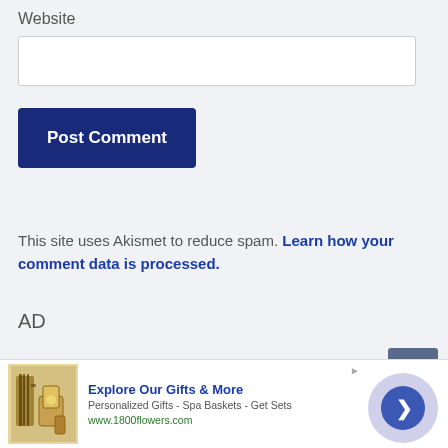Website
Post Comment
This site uses Akismet to reduce spam. Learn how your comment data is processed.
AD
[Figure (screenshot): Back to top button, dark blue-grey rectangle with upward arrow]
[Figure (infographic): Advertisement bar: 1800flowers.com gift ad with product image, title 'Explore Our Gifts & More', subtitle 'Personalized Gifts - Spa Baskets - Get Sets', URL www.1800flowers.com, and a circular navigation button]